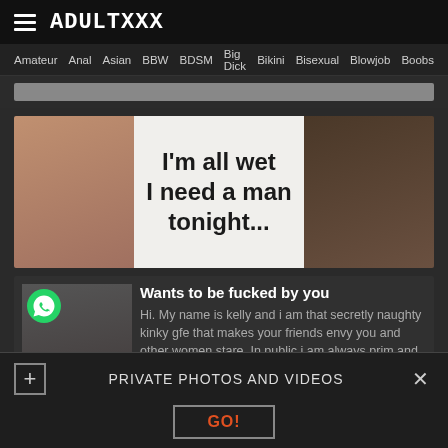ADULTXXX
Amateur  Anal  Asian  BBW  BDSM  Big Dick  Bikini  Bisexual  Blowjob  Boobs
[Figure (photo): Adult website banner advertisement with text: I'm all wet I need a man tonight...]
[Figure (photo): Adult profile ad with WhatsApp icon. Title: Wants to be fucked by you. Text: Hi. My name is kelly and i am that secretly naughty kinky gfe that makes your friends envy you and other women stare. In public i am always prim and proper with a natural sensuality, but in private you will see]
PRIVATE PHOTOS AND VIDEOS  GO!